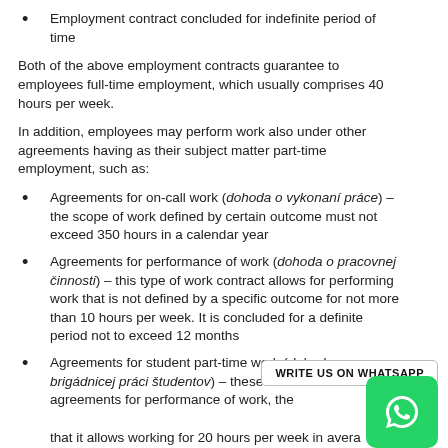Employment contract concluded for indefinite period of time
Both of the above employment contracts guarantee to employees full-time employment, which usually comprises 40 hours per week.
In addition, employees may perform work also under other agreements having as their subject matter part-time employment, such as:
Agreements for on-call work (dohoda o vykonaní práce) – the scope of work defined by certain outcome must not exceed 350 hours in a calendar year
Agreements for performance of work (dohoda o pracovnej činnosti) – this type of work contract allows for performing work that is not defined by a specific outcome for not more than 10 hours per week. It is concluded for a definite period not to exceed 12 months
Agreements for student part-time work (dohoda o brigádnicej práci študentov) – these are similar to agreements for performance of work, the difference is that it allows working for 20 hours per week in average. These types of agreements may only be concluded with persons who are either full-time high school or university